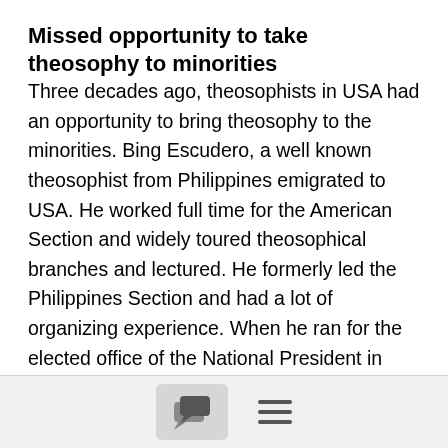Missed opportunity to take theosophy to minorities
Three decades ago, theosophists in USA had an opportunity to bring theosophy to the minorities. Bing Escudero, a well known theosophist from Philippines emigrated to USA. He worked full time for the American Section and widely toured theosophical branches and lectured. He formerly led the Philippines Section and had a lot of organizing experience. When he ran for the elected office of the National President in USA, he was defeated. Many theosophists believe he lost because he was not a native born theosophist with right national lineage. Had he succeeded,
[Figure (other): Bottom toolbar with a chat/comment icon button and a hamburger menu icon]